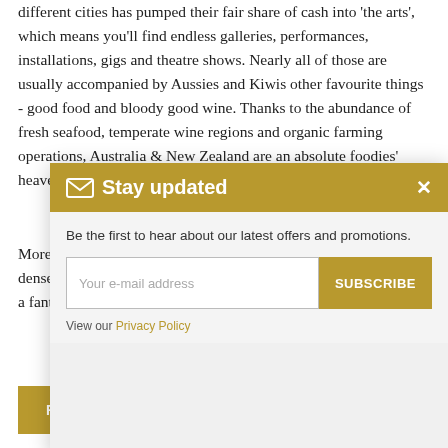different cities has pumped their fair share of cash into 'the arts', which means you'll find endless galleries, performances, installations, gigs and theatre shows. Nearly all of those are usually accompanied by Aussies and Kiwis other favourite things - good food and bloody good wine. Thanks to the abundance of fresh seafood, temperate wine regions and organic farming operations, Australia & New Zealand are an absolute foodies' heaven. Will it... and b...
More... mono... Roto... Aust... biodi... clear waterholes, dense tropical rainforests, eternal deserts and fauna straight out of a fantasy.
[Figure (screenshot): A modal popup dialog with a gold header reading 'Stay updated' with an envelope icon and a close (x) button. Body contains text 'Be the first to hear about our latest offers and promotions.' with an email input field placeholder 'Your e-mail address' and a gold 'SUBSCRIBE' button. Below is 'View our Privacy Policy' with Privacy Policy as a gold link.]
READ MORE